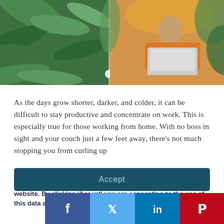[Figure (photo): Two-panel photo: left panel shows green tropical leaves/plants, right panel shows a person in an orange outfit working on a laptop surrounded by plants. A white dot indicator is visible at the bottom center dividing the two panels.]
As the days grow shorter, darker, and colder, it can be difficult to stay productive and concentrate on work. This is especially true for those working from home. With no boss in sight and your couch just a few feet away, there's not much stopping you from curling up
We use cookies to give you the best experience on our website. By clicking 'Accept' you are consenting to the use of this data as outlined in our Privacy and Cookie Policy.
Accept
[Figure (infographic): Social media share buttons bar: Facebook (dark blue, f icon), Twitter (light blue, bird icon), LinkedIn (medium blue, in icon), Pinterest (red, P icon)]